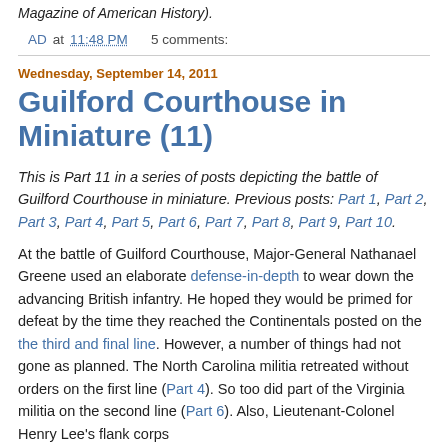Magazine of American History).
AD at 11:48 PM    5 comments:
Wednesday, September 14, 2011
Guilford Courthouse in Miniature (11)
This is Part 11 in a series of posts depicting the battle of Guilford Courthouse in miniature. Previous posts: Part 1, Part 2, Part 3, Part 4, Part 5, Part 6, Part 7, Part 8, Part 9, Part 10.
At the battle of Guilford Courthouse, Major-General Nathanael Greene used an elaborate defense-in-depth to wear down the advancing British infantry. He hoped they would be primed for defeat by the time they reached the Continentals posted on the the third and final line. However, a number of things had not gone as planned. The North Carolina militia retreated without orders on the first line (Part 4). So too did part of the Virginia militia on the second line (Part 6). Also, Lieutenant-Colonel Henry Lee's flank corps